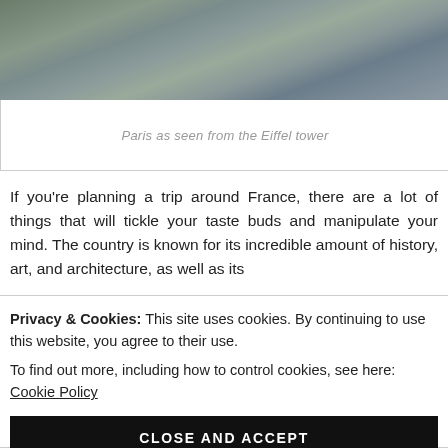[Figure (photo): Aerial photograph of Paris as seen from the Eiffel tower, showing city rooftops and streets.]
Paris as seen from the Eiffel tower
If you're planning a trip around France, there are a lot of things that will tickle your taste buds and manipulate your mind. The country is known for its incredible amount of history, art, and architecture, as well as its
Privacy & Cookies: This site uses cookies. By continuing to use this website, you agree to their use.
To find out more, including how to control cookies, see here: Cookie Policy
CLOSE AND ACCEPT
Probably one of the most famous capitals in the world,